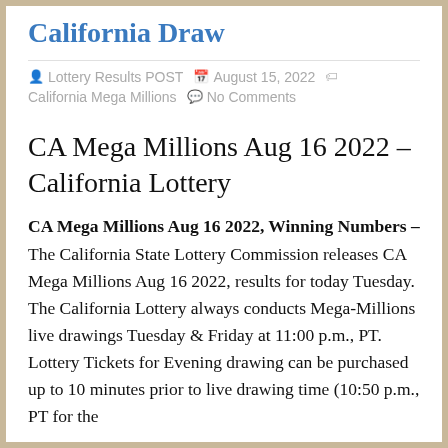California Draw
Lottery Results POST  August 15, 2022  California Mega Millions  No Comments
CA Mega Millions Aug 16 2022 – California Lottery
CA Mega Millions Aug 16 2022, Winning Numbers – The California State Lottery Commission releases CA Mega Millions Aug 16 2022, results for today Tuesday. The California Lottery always conducts Mega-Millions live drawings Tuesday & Friday at 11:00 p.m., PT. Lottery Tickets for Evening drawing can be purchased up to 10 minutes prior to live drawing time (10:50 p.m., PT for the